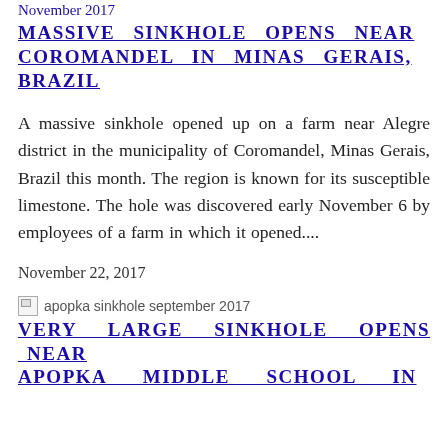November 2017
MASSIVE SINKHOLE OPENS NEAR COROMANDEL IN MINAS GERAIS, BRAZIL
A massive sinkhole opened up on a farm near Alegre district in the municipality of Coromandel, Minas Gerais, Brazil this month. The region is known for its susceptible limestone. The hole was discovered early November 6 by employees of a farm in which it opened....
November 22, 2017
[Figure (photo): Broken image placeholder with alt text: apopka sinkhole september 2017]
VERY LARGE SINKHOLE OPENS NEAR APOPKA MIDDLE SCHOOL IN